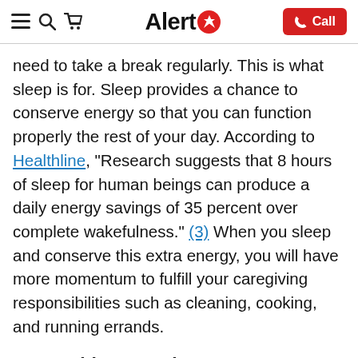Alert1 | Call
need to take a break regularly. This is what sleep is for. Sleep provides a chance to conserve energy so that you can function properly the rest of your day. According to Healthline, “Research suggests that 8 hours of sleep for human beings can produce a daily energy savings of 35 percent over complete wakefulness.” (3) When you sleep and conserve this extra energy, you will have more momentum to fulfill your caregiving responsibilities such as cleaning, cooking, and running errands.
2. Cognitive Functions